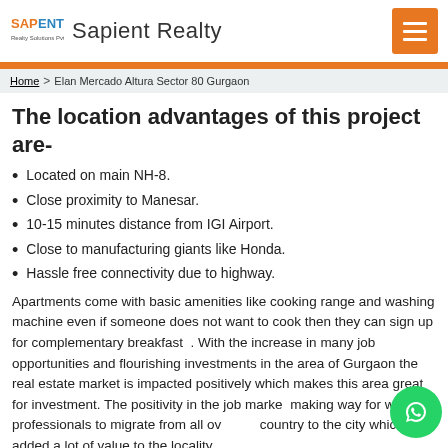Sapient Realty
Home > Elan Mercado Altura Sector 80 Gurgaon
The location advantages of this project are-
Located on main NH-8.
Close proximity to Manesar.
10-15 minutes distance from IGI Airport.
Close to manufacturing giants like Honda.
Hassle free connectivity due to highway.
Apartments come with basic amenities like cooking range and washing machine even if someone does not want to cook then they can sign up for complementary breakfast  . With the increase in many job opportunities and flourishing investments in the area of Gurgaon the real estate market is impacted positively which makes this area great for investment. The positivity in the job market is making way for working professionals to migrate from all over the country to the city which has added a lot of value to the locality.